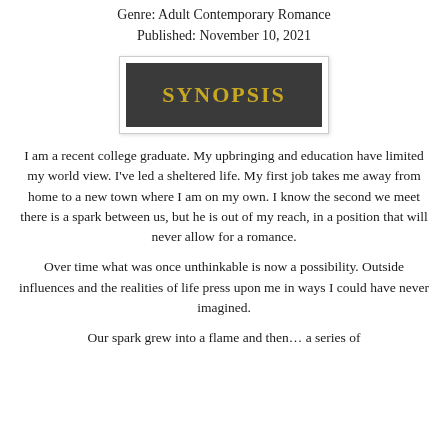Genre: Adult Contemporary Romance
Published: November 10, 2021
[Figure (other): Dark gray rectangle banner with gold bold text reading SYNOPSIS, surrounded by a white-bordered box with light shadow]
I am a recent college graduate. My upbringing and education have limited my world view. I've led a sheltered life. My first job takes me away from home to a new town where I am on my own. I know the second we meet there is a spark between us, but he is out of my reach, in a position that will never allow for a romance.
Over time what was once unthinkable is now a possibility. Outside influences and the realities of life press upon me in ways I could have never imagined.
Our spark grew into a flame and then… a series of